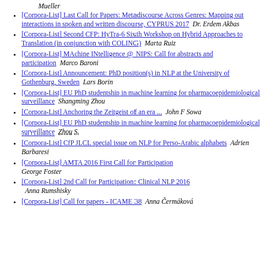Mueller
[Corpora-List] Last Call for Papers: Metadiscourse Across Genres: Mapping out interactions in spoken and written discourse, CYPRUS 2017   Dr. Erdem Akbas
[Corpora-List] Second CFP: HyTra-6 Sixth Workshop on Hybrid Approaches to Translation (in conjunction with COLING)   Marta Ruiz
[Corpora-List] MAchine INtelligence @ NIPS: Call for abstracts and participation   Marco Baroni
[Corpora-List] Announcement: PhD position(s) in NLP at the University of Gothenburg, Sweden   Lars Borin
[Corpora-List] EU PhD studentship in machine learning for pharmacoepidemiological surveillance   Shangming Zhou
[Corpora-List] Anchoring the Zeitgeist of an era ...   John F Sowa
[Corpora-List] EU PhD studentship in machine learning for pharmacoepidemiological surveillance   Zhou S.
[Corpora-List] CfP JLCL special issue on NLP for Perso-Arabic alphabets   Adrien Barbaresi
[Corpora-List] AMTA 2016 First Call for Participation   George Foster
[Corpora-List] 2nd Call for Participation: Clinical NLP 2016   Anna Rumshisky
[Corpora-List] Call for papers - ICAME 38   Anna Čermáková